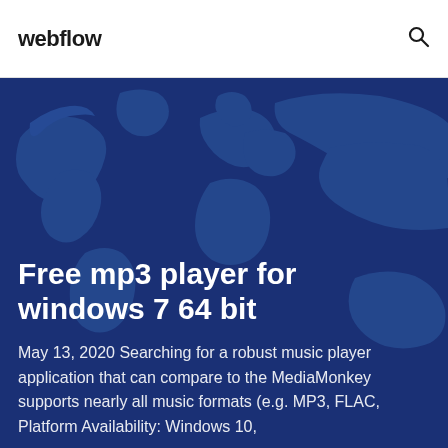webflow
Free mp3 player for windows 7 64 bit
May 13, 2020 Searching for a robust music player application that can compare to the MediaMonkey supports nearly all music formats (e.g. MP3, FLAC, Platform Availability: Windows 10,